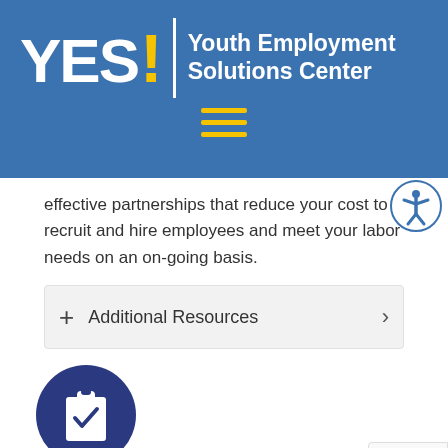[Figure (logo): YES! Youth Employment Solutions Center logo on blue background with hamburger menu icon]
effective partnerships that reduce your cost to recruit and hire employees and meet your labor needs on an on-going basis.
+ Additional Resources >
[Figure (illustration): Dark blue circle with clipboard and checkmark icon]
What is the role of a "Job Coach"?